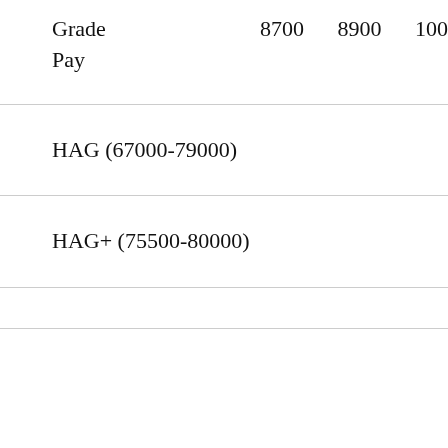| Grade Pay | 8700 | 8900 | 10000 |
| --- | --- | --- | --- |
| HAG (67000-79000) |  |  |  |
| HAG+ (75500-80000) |  |  |  |